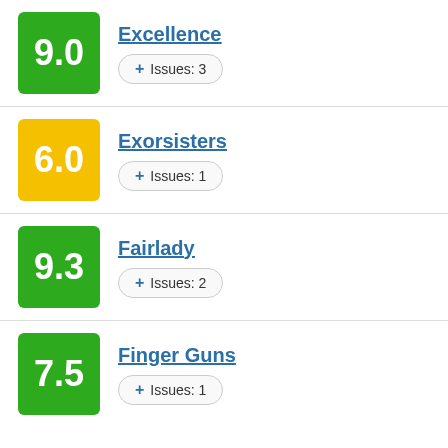9.0 Excellence Issues: 3
6.0 Exorsisters Issues: 1
9.3 Fairlady Issues: 2
7.5 Finger Guns Issues: 1